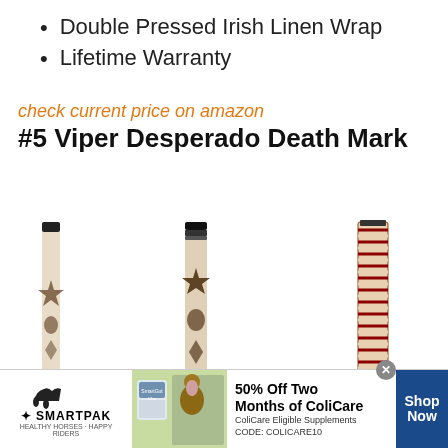Double Pressed Irish Linen Wrap
Lifetime Warranty
check current price on amazon
#5 Viper Desperado Death Mark
[Figure (photo): Three pool/billiard cue sticks displayed vertically, with decorative inlays and wraps, against a white background]
[Figure (photo): SmartPak advertisement banner with horse supplement products, a photo of a horse and rider, text '50% Off Two Months of ColiCare, ColiCare Eligible Supplements, CODE: COLICARE10', and a blue 'Shop Now' button]